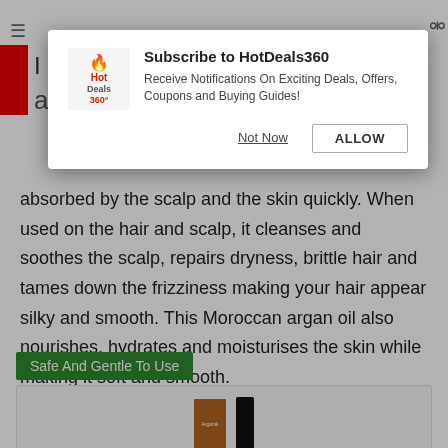[Figure (screenshot): Browser notification popup for HotDeals360 with logo, title 'Subscribe to HotDeals360', subtitle text, and Not Now / ALLOW buttons]
absorbed by the scalp and the skin quickly. When used on the hair and scalp, it cleanses and soothes the scalp, repairs dryness, brittle hair and tames down the frizziness making your hair appear silky and smooth. This Moroccan argan oil also nourishes, hydrates and moisturises the skin while making it soft and smooth.
Safe And Gentle To Use
[Figure (photo): Product images — a brown book-style product and a black bottle partially visible]